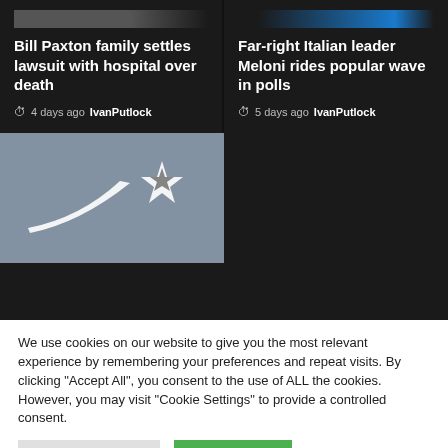[Figure (screenshot): Partial image at top of left news card (dark/grey cropped photo)]
[Figure (screenshot): Partial image at top of right news card with blue accent (cropped)]
Bill Paxton family settles lawsuit with hospital over death
4 days ago  IvanPutlock
Far-right Italian leader Meloni rides popular wave in polls
5 days ago  IvanPutlock
[Figure (illustration): A white shooting star logo (star with a comet tail) on a blurred grey background]
We use cookies on our website to give you the most relevant experience by remembering your preferences and repeat visits. By clicking "Accept All", you consent to the use of ALL the cookies. However, you may visit "Cookie Settings" to provide a controlled consent.
Cookie Settings
Accept All